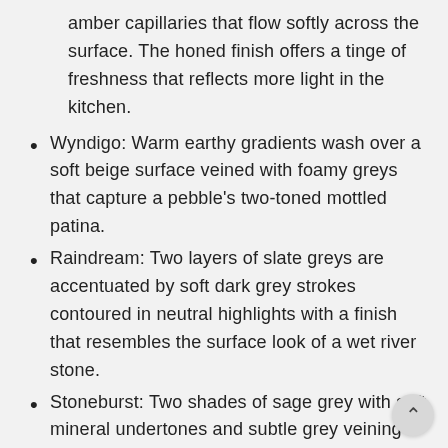amber capillaries that flow softly across the surface. The honed finish offers a tinge of freshness that reflects more light in the kitchen.
Wyndigo: Warm earthy gradients wash over a soft beige surface veined with foamy greys that capture a pebble's two-toned mottled patina.
Raindream: Two layers of slate greys are accentuated by soft dark grey strokes contoured in neutral highlights with a finish that resembles the surface look of a wet river stone.
Stoneburst: Two shades of sage grey with soft mineral undertones and subtle grey veining complement this calm complexion.
Agger Grey: A rich two-toned base of warm